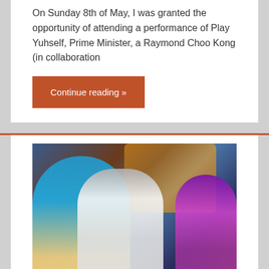On Sunday 8th of May, I was granted the opportunity of attending a performance of Play Yuhself, Prime Minister, a Raymond Choo Kong (in collaboration
Continue reading »
[Figure (photo): A theatrical performance scene showing actors on stage — a person in a blue polo shirt reclines while another person in white leans over them, and a third person in purple stands behind, against a floral-patterned background with blue stage lighting.]